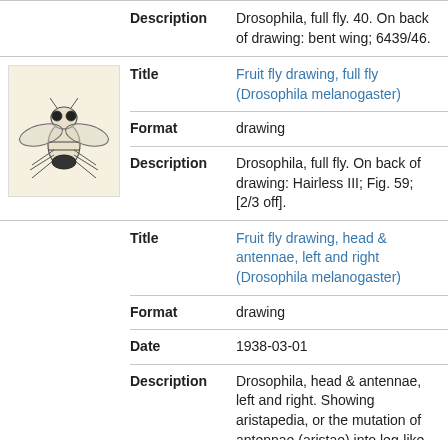| Field | Value |
| --- | --- |
| Description | Drosophila, full fly. 40. On back of drawing: bent wing; 6439/46. |
| Title | Fruit fly drawing, full fly (Drosophila melanogaster) |
| Format | drawing |
| Description | Drosophila, full fly. On back of drawing: Hairless III; Fig. 59; [2/3 off]. |
| Title | Fruit fly drawing, head & antennae, left and right (Drosophila melanogaster) |
| Format | drawing |
| Date | 1938-03-01 |
| Description | Drosophila, head & antennae, left and right. Showing aristapedia, or the mutation of antennae (aristae) into leg-like structures. Described by Welch... |